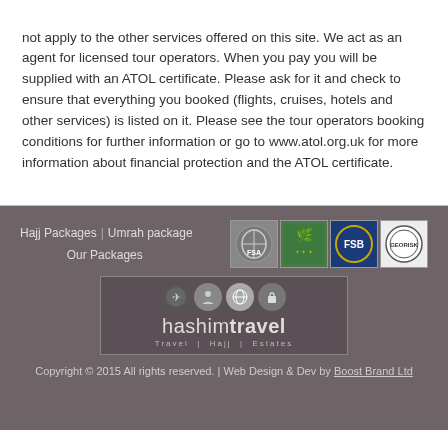not apply to the other services offered on this site. We act as an agent for licensed tour operators. When you pay you will be supplied with an ATOL certificate. Please ask for it and check to ensure that everything you booked (flights, cruises, hotels and other services) is listed on it. Please see the tour operators booking conditions for further information or go to www.atol.org.uk for more information about financial protection and the ATOL certificate.
Hajj Packages
Umrah package
Our Packages
[Figure (logo): FSA logo, Saudi Arabia emblem, FSB logo, and GEORISK certification badge - four organization badges in a row]
[Figure (logo): Hashim Travel logo with travel, hajj, estates icons and text]
Copyright © 2015 All rights reserved. | Web Design & Dev by Boost Brand Ltd